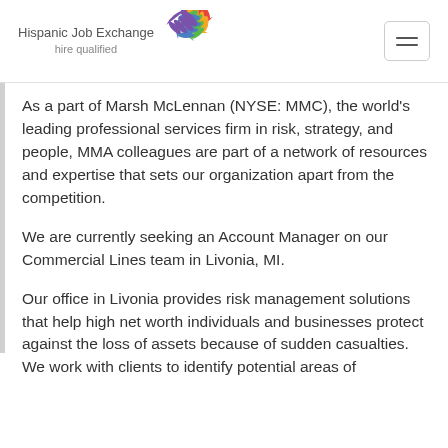Hispanic Job Exchange hire qualified
As a part of Marsh McLennan (NYSE: MMC), the world's leading professional services firm in risk, strategy, and people, MMA colleagues are part of a network of resources and expertise that sets our organization apart from the competition.
We are currently seeking an Account Manager on our Commercial Lines team in Livonia, MI.
Our office in Livonia provides risk management solutions that help high net worth individuals and businesses protect against the loss of assets because of sudden casualties. We work with clients to identify potential areas of